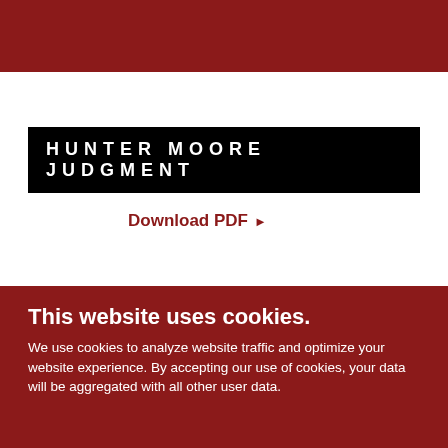HUNTER MOORE JUDGMENT
Download PDF ▶
This website uses cookies.
We use cookies to analyze website traffic and optimize your website experience. By accepting our use of cookies, your data will be aggregated with all other user data.
ACCEPT